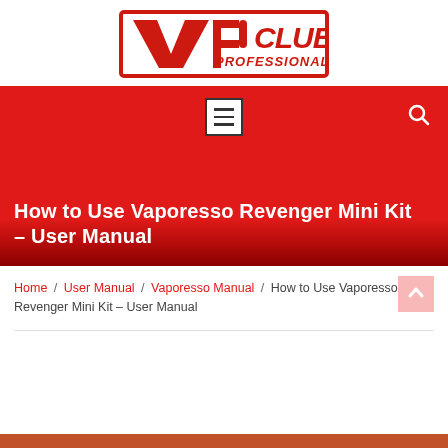[Figure (logo): VP Club Professional logo — red block letters with V-shape and 'PCLUB PROFESSIONAL' in italic red text, inside a red rectangular border on white background]
[Figure (screenshot): Red navigation bar with a hamburger menu icon (three horizontal lines in a white bordered box) centered, and a white search (magnifying glass) icon on the right]
How to Use Vaporesso Revenger Mini Kit – User Manual
Home / User Manual / Vaporesso Manual / How to Use Vaporesso Revenger Mini Kit – User Manual